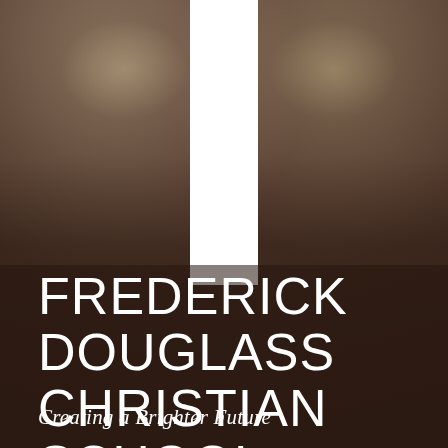[Figure (photo): Blurred background photo of a school interior with warm bokeh lights, overlaid with a white vertical bar/pillar shape centered at the top of the image]
FREDERICK DOUGLASS CHRISTIAN SCHOOL
Creating a Brighter Future